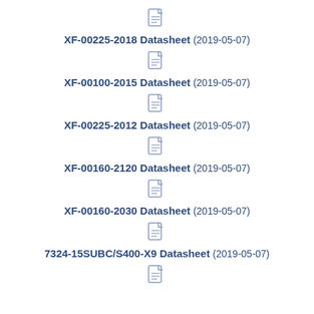XF-00225-2018 Datasheet (2019-05-07)
XF-00100-2015 Datasheet (2019-05-07)
XF-00225-2012 Datasheet (2019-05-07)
XF-00160-2120 Datasheet (2019-05-07)
XF-00160-2030 Datasheet (2019-05-07)
7324-15SUBC/S400-X9 Datasheet (2019-05-07)